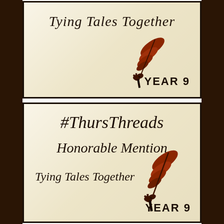[Figure (illustration): Top award badge on aged parchment background with cursive text 'Tying Tales Together', a red quill pen with inkwell and ribbon bow, and 'YEAR 9' in bold. Dark leather/wood background visible on sides.]
[Figure (illustration): Bottom award badge on aged parchment background with cursive text '#ThursThreads Honorable Mention Tying Tales Together', a red quill pen with inkwell and ribbon bow, and 'YEAR 9' in bold.]